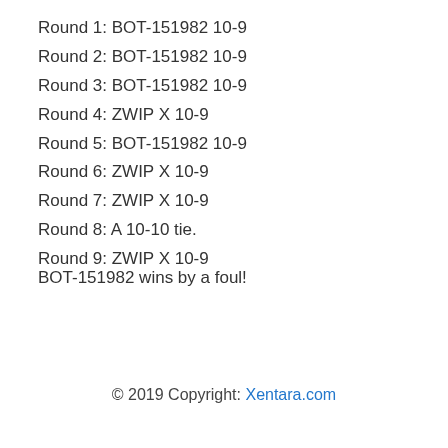Round 1: BOT-151982 10-9
Round 2: BOT-151982 10-9
Round 3: BOT-151982 10-9
Round 4: ZWIP X 10-9
Round 5: BOT-151982 10-9
Round 6: ZWIP X 10-9
Round 7: ZWIP X 10-9
Round 8: A 10-10 tie.
Round 9: ZWIP X 10-9
BOT-151982 wins by a foul!
© 2019 Copyright: Xentara.com